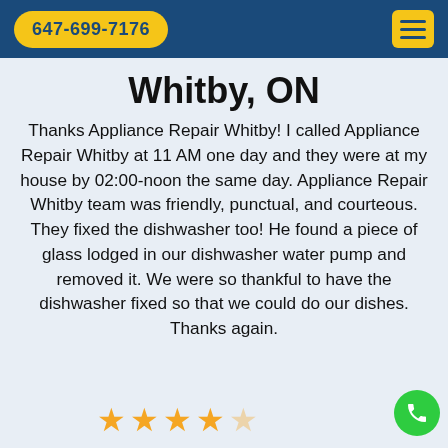647-699-7176
Whitby, ON
Thanks Appliance Repair Whitby! I called Appliance Repair Whitby at 11 AM one day and they were at my house by 02:00-noon the same day. Appliance Repair Whitby team was friendly, punctual, and courteous. They fixed the dishwasher too! He found a piece of glass lodged in our dishwasher water pump and removed it. We were so thankful to have the dishwasher fixed so that we could do our dishes. Thanks again.
[Figure (other): 4 filled gold stars and 1 half/empty star rating]